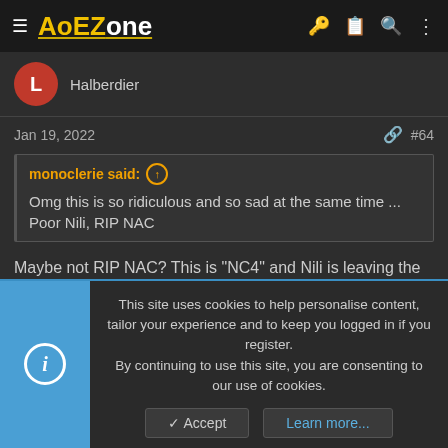AoEZone
Halberdier
Jan 19, 2022  #64
monoclerie said: Omg this is so ridiculous and so sad at the same time ... Poor Nili, RIP NAC
Maybe not RIP NAC? This is "NC4" and Nili is leaving the door open to future AoE2 tourneys that would be called "NAC"
This site uses cookies to help personalise content, tailor your experience and to keep you logged in if you register. By continuing to use this site, you are consenting to our use of cookies.